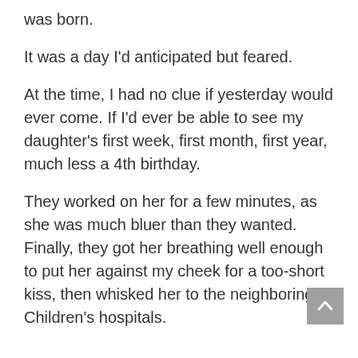was born.
It was a day I'd anticipated but feared.
At the time, I had no clue if yesterday would ever come. If I'd ever be able to see my daughter's first week, first month, first year, much less a 4th birthday.
They worked on her for a few minutes, as she was much bluer than they wanted. Finally, they got her breathing well enough to put her against my cheek for a too-short kiss, then whisked her to the neighboring Children's hospitals.